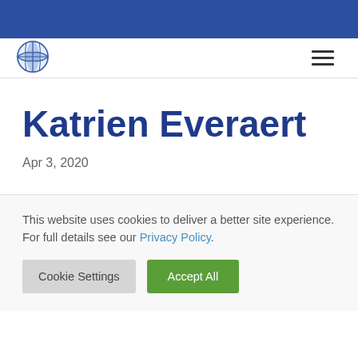[Figure (logo): Globe/world icon in blue and white]
Katrien Everaert
Apr 3, 2020
This website uses cookies to deliver a better site experience. For full details see our Privacy Policy.
Cookie Settings   Accept All